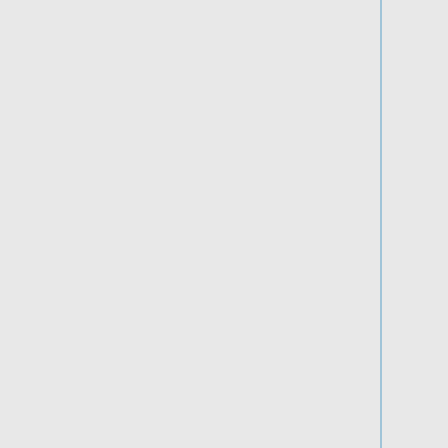eteam2.active.com hydrocodone link]
[http://enolivo.sitepedia.jp/fufevtaac.html practice drivers license tests] [http://grlutzi.sitepedia.jp/resource-524.html ritz cracker pie crust] [http://husandra.blendmix.jp/page920